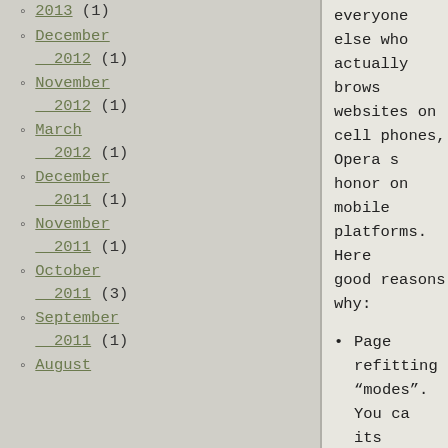2013 (1)
December 2012 (1)
November 2012 (1)
March 2012 (1)
December 2011 (1)
November 2011 (1)
October 2011 (3)
September 2011 (1)
August
everyone else who actually brows websites on cell phones, Opera s honor on mobile platforms. Here good reasons why:
Page refitting "modes". You ca its original design or opt for it on the mobile screen for yo
Inline frames. You can't log-i Google services without them (
Better Javascript support.
One reason to rule them all: a the platform.
And the one reason looks like i